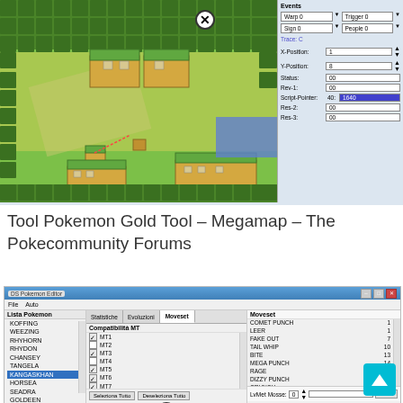[Figure (screenshot): Screenshot of Pokemon Gold Tool - Megamap editor with game map view on the left showing top-down Pokemon game map with trees and buildings, and a right panel showing event editor with fields: Events, Warp 0, Trigger 0, Sign 0, People 0, Trace C, X-Position: 1, Y-Position: 8, Status: 00, Rev-1: 00, Script-Pointer: 40: 1640, Res-2: 00, Res-3: 00]
Tool Pokemon Gold Tool – Megamap – The Pokecommunity Forums
[Figure (screenshot): Screenshot of DS Pokemon Editor showing Lista Pokemon with KOFFING, WEEZING, RHYHORN, RHYDON, CHANSEY, TANGELA, KANGASKHAN (selected), HORSEA, SEADRA, GOLDEEN, SEAKING, STARYU, STARMIE, MR. MIME, SCYTHER, JYNX, ELECTABUZZ, MAGMAR, PINSIR, TAUROS, MAGIKARP, GYARADOS. Middle panel shows tabs: Statistiche, Evoluzioni, Moveset (active). Compatibilità MT section shows MT1 through MT12 with checkboxes. Right panel shows Moveset with: COMET PUNCH 1, LEER 1, FAKE OUT 7, TAIL WHIP 10, BITE 13, MEGA PUNCH 11 14(?), RAGE 23, DIZZY PUNCH 75, CRUNCH 31, ENDURE 41. Bottom has LvMet/Mosse fields, Salva button. Compatibilità VN header visible at bottom.]